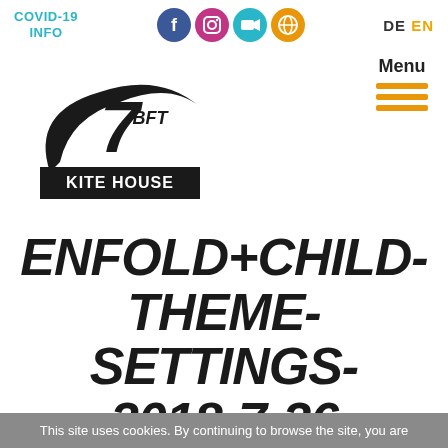COVID-19 INFO
[Figure (logo): 7BFT Kite House logo with stylized 7 and wing shape]
Menu
ENFOLD+CHILD-THEME-SETTINGS-2018-7-26
This site uses cookies. By continuing to browse the site, you are